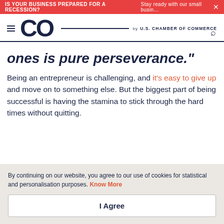IS YOUR BUSINESS PREPARED FOR A RECESSION? Stay ready with our small busin...
[Figure (logo): CO by U.S. Chamber of Commerce logo with hamburger menu and search icon]
ones is pure perseverance."
Being an entrepreneur is challenging, and it's easy to give up and move on to something else. But the biggest part of being successful is having the stamina to stick through the hard times without quitting.
By continuing on our website, you agree to our use of cookies for statistical and personalisation purposes. Know More
I Agree